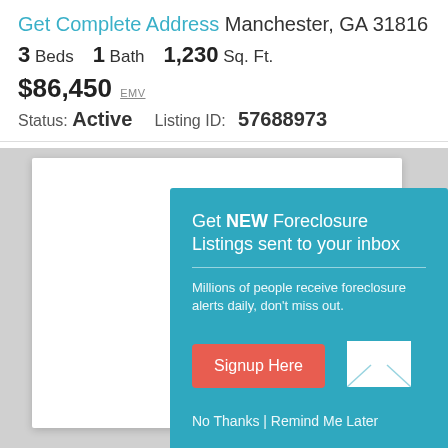Get Complete Address Manchester, GA 31816
3 Beds  1 Bath  1,230 Sq. Ft.
$86,450 EMV
Status: Active   Listing ID: 57688973
[Figure (infographic): Teal popup modal promoting foreclosure listing alerts with a signup button, envelope icon, and links for No Thanks and Remind Me Later]
Get NEW Foreclosure Listings sent to your inbox
Millions of people receive foreclosure alerts daily, don't miss out.
Signup Here
No Thanks | Remind Me Later